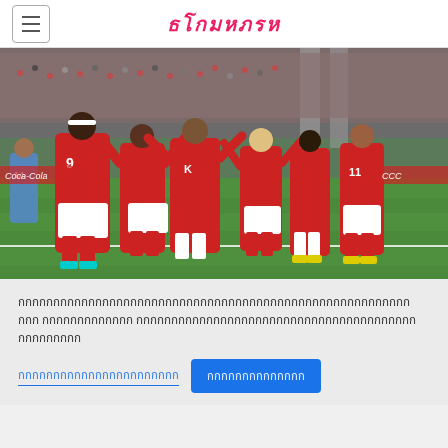ธโกมหภรห
[Figure (photo): Football players in red uniforms celebrating on a pitch, with a crowd in the background. Players wearing number 9 jersey visible. Stadium setting with green grass.]
Thai language article text about football/soccer match
Link text in Thai (blue underlined)
Button text in Thai (blue button)